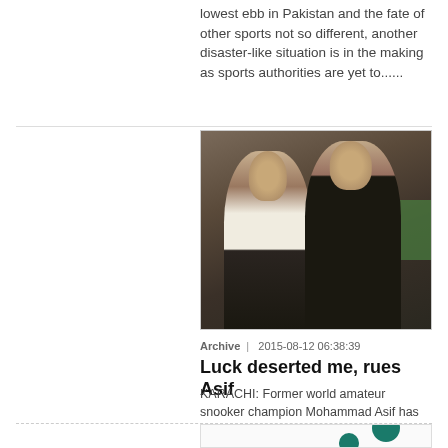lowest ebb in Pakistan and the fate of other sports not so different, another disaster-like situation is in the making as sports authorities are yet to......
[Figure (photo): Two young men in dark vests seated at a snooker table, smiling at the camera]
Archive  |  2015-08-12 06:38:39
Luck deserted me, rues Asif
KARACHI: Former world amateur snooker champion Mohammad Asif has attributed his semi-final defeat in the world 6-Reds event to ‘bad luck’.“It was Yan Bingtao’s day as he came back from the jaws of......
[Figure (illustration): Partial view of a circular icon with teal circles visible at bottom of page]